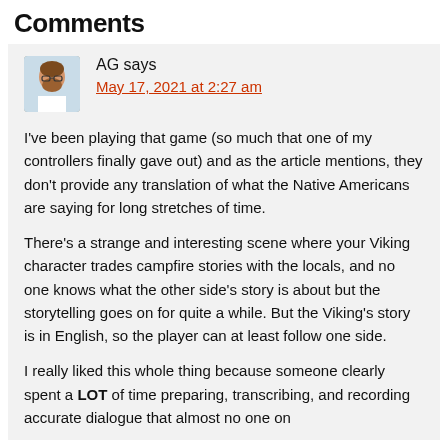Comments
AG says
May 17, 2021 at 2:27 am
I've been playing that game (so much that one of my controllers finally gave out) and as the article mentions, they don't provide any translation of what the Native Americans are saying for long stretches of time.
There's a strange and interesting scene where your Viking character trades campfire stories with the locals, and no one knows what the other side's story is about but the storytelling goes on for quite a while. But the Viking's story is in English, so the player can at least follow one side.
I really liked this whole thing because someone clearly spent a LOT of time preparing, transcribing, and recording accurate dialogue that almost no one on